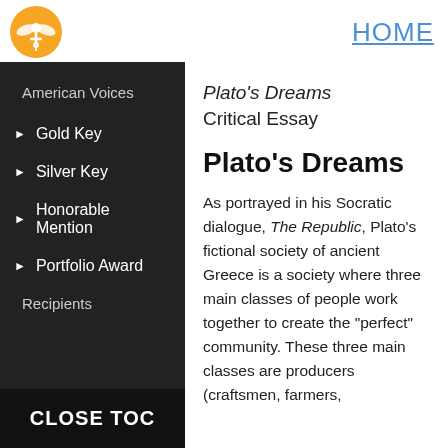[Figure (logo): Orange circular logo with white winged figure/Mercury symbol]
HOME
American Voices
► Gold Key
► Silver Key
► Honorable Mention
► Portfolio Award
Recipients
CLOSE TOC
Plato's Dreams Critical Essay
Plato's Dreams
As portrayed in his Socratic dialogue, The Republic, Plato's fictional society of ancient Greece is a society where three main classes of people work together to create the "perfect" community. These three main classes are producers (craftsmen, farmers,